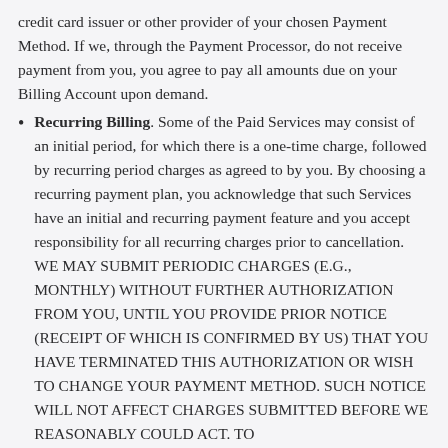credit card issuer or other provider of your chosen Payment Method. If we, through the Payment Processor, do not receive payment from you, you agree to pay all amounts due on your Billing Account upon demand.
Recurring Billing. Some of the Paid Services may consist of an initial period, for which there is a one-time charge, followed by recurring period charges as agreed to by you. By choosing a recurring payment plan, you acknowledge that such Services have an initial and recurring payment feature and you accept responsibility for all recurring charges prior to cancellation. WE MAY SUBMIT PERIODIC CHARGES (E.G., MONTHLY) WITHOUT FURTHER AUTHORIZATION FROM YOU, UNTIL YOU PROVIDE PRIOR NOTICE (RECEIPT OF WHICH IS CONFIRMED BY US) THAT YOU HAVE TERMINATED THIS AUTHORIZATION OR WISH TO CHANGE YOUR PAYMENT METHOD. SUCH NOTICE WILL NOT AFFECT CHARGES SUBMITTED BEFORE WE REASONABLY COULD ACT. TO